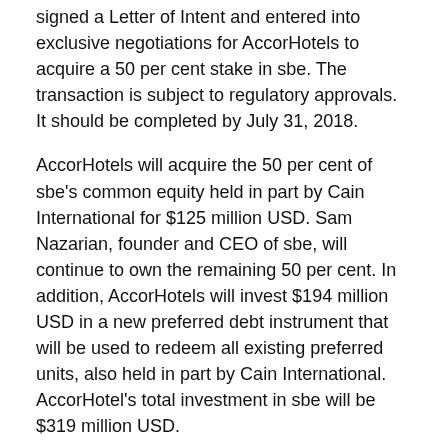signed a Letter of Intent and entered into exclusive negotiations for AccorHotels to acquire a 50 per cent stake in sbe. The transaction is subject to regulatory approvals. It should be completed by July 31, 2018.
AccorHotels will acquire the 50 per cent of sbe's common equity held in part by Cain International for $125 million USD. Sam Nazarian, founder and CEO of sbe, will continue to own the remaining 50 per cent. In addition, AccorHotels will invest $194 million USD in a new preferred debt instrument that will be used to redeem all existing preferred units, also held in part by Cain International. AccorHotel's total investment in sbe will be $319 million USD.
“This partnership with AccorHotels marks a new milestone in sbe’s history. The long-term investment by AccorHotels provides sbe, its customers and hotel owners with greater depth and breadth around the world